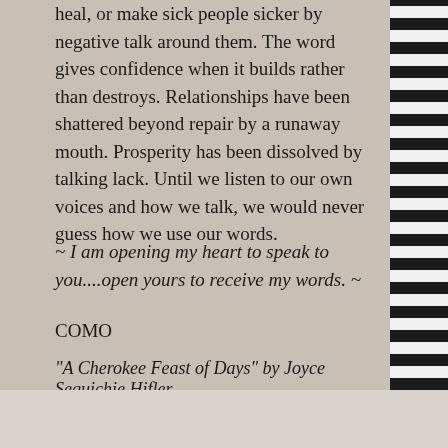heal, or make sick people sicker by negative talk around them. The word gives confidence when it builds rather than destroys. Relationships have been shattered beyond repair by a runaway mouth. Prosperity has been dissolved by talking lack. Until we listen to our own voices and how we talk, we would never guess how we use our words.
~ I am opening my heart to speak to you....open yours to receive my words. ~
COMO
“A Cherokee Feast of Days” by Joyce Sequichie Hifler
Posted on August 24, 2012 by ladyoftheabyss
Advertisements
[Figure (photo): MAC cosmetics advertisement banner showing lipsticks and the MAC logo with a SHOP NOW button]